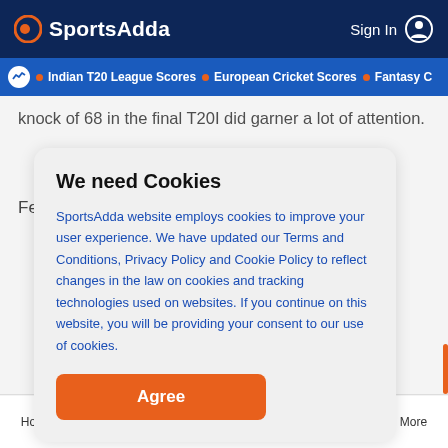SportsAdda
Indian T20 League Scores • European Cricket Scores • Fantasy C
knock of 68 in the final T20I did garner a lot of attention.
We need Cookies
SportsAdda website employs cookies to improve your user experience. We have updated our Terms and Conditions, Privacy Policy and Cookie Policy to reflect changes in the law on cookies and tracking technologies used on websites. If you continue on this website, you will be providing your consent to our use of cookies.
Agree
Home  Cricket Scores  Tips & Predictions  Football  More